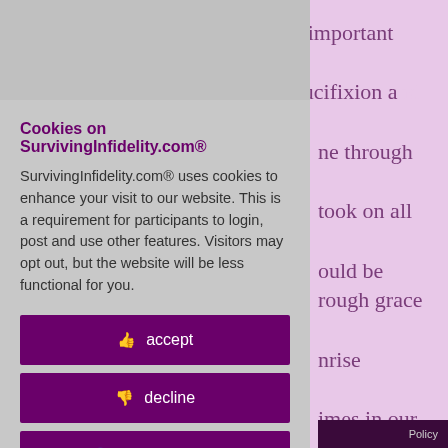Easter weekend The most important days in the Christian calendar. The crucifixion and resurrection... came through the ... took on all of ... ould be ... rough grace ... nrise services ... imes in our ... at a nearby ... nestly, I ... ot just the ... for a special ... at God so
Cookies on SurvivingInfidelity.com®
SurvivingInfidelity.com® uses cookies to enhance your visit to our website. This is a requirement for participants to login, post and use other features. Visitors may opt out, but the website will be less functional for you.
👍 accept
👎 decline
🌐 about cookies
Policy